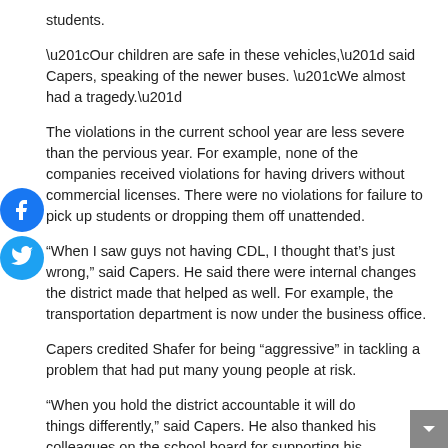students.
“Our children are safe in these vehicles,” said Capers, speaking of the newer buses. “We almost had a tragedy.”
The violations in the current school year are less severe than the pervious year. For example, none of the companies received violations for having drivers without commercial licenses. There were no violations for failure to pick up students or dropping them off unattended.
“When I saw guys not having CDL, I thought that’s just wrong,” said Capers. He said there were internal changes the district made that helped as well. For example, the transportation department is now under the business office.
Capers credited Shafer for being “aggressive” in tackling a problem that had put many young people at risk.
“When you hold the district accountable it will do things differently,” said Capers. He also thanked his colleagues on the school board for supporting his proposal to set vehicle age limit.